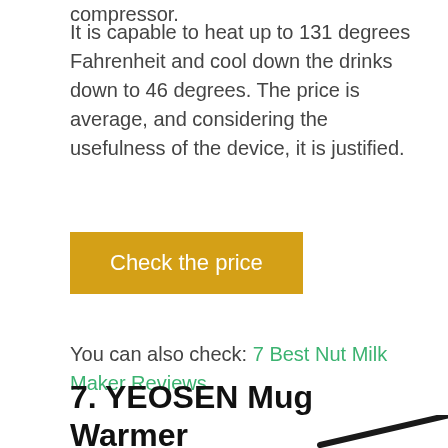compressor.
It is capable to heat up to 131 degrees Fahrenheit and cool down the drinks down to 46 degrees. The price is average, and considering the usefulness of the device, it is justified.
Check the price
You can also check: 7 Best Nut Milk Maker Reviews
7. YEOSEN Mug Warmer
[Figure (photo): Photo of YEOSEN Mug Warmer product, a black circular warming pad with a cable, seen from above at an angle]